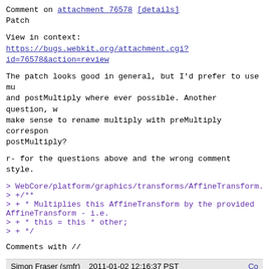Comment on attachment 76578 [details]
Patch
View in context: https://bugs.webkit.org/attachment.cgi?id=76578&action=review
The patch looks good in general, but I'd prefer to use mu and postMultiply where ever possible. Another question, w make sense to rename multiply with preMultiply correspon postMultiply?
r- for the questions above and the wrong comment style.
> WebCore/platform/graphics/transforms/AffineTransform.cp
> +/**
> + * Multiplies this AffineTransform by the provided AffineTransform - i.e.
> + * this = this * other;
> + */
Comments with //
Simon Fraser (smfr)    2011-01-02 12:16:37 PST
Bug 16062 gives some back story into the various matrix multiplication issues.
But I'm not convinced that there is a bug here.